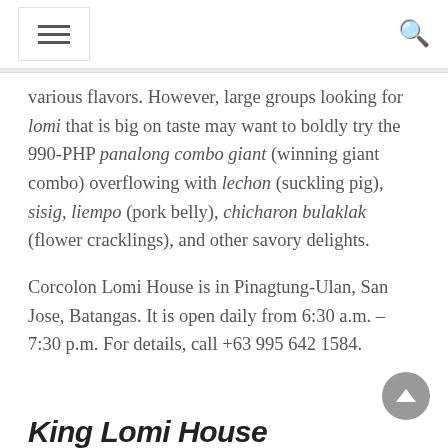[hamburger menu] [search icon]
various flavors. However, large groups looking for lomi that is big on taste may want to boldly try the 990-PHP panalong combo giant (winning giant combo) overflowing with lechon (suckling pig), sisig, liempo (pork belly), chicharon bulaklak (flower cracklings), and other savory delights.

Corcolon Lomi House is in Pinagtung-Ulan, San Jose, Batangas. It is open daily from 6:30 a.m. – 7:30 p.m. For details, call +63 995 642 1584.
King Lomi House